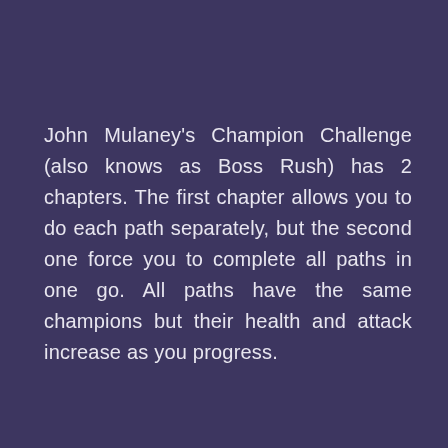John Mulaney's Champion Challenge (also knows as Boss Rush) has 2 chapters. The first chapter allows you to do each path separately, but the second one force you to complete all paths in one go. All paths have the same champions but their health and attack increase as you progress.